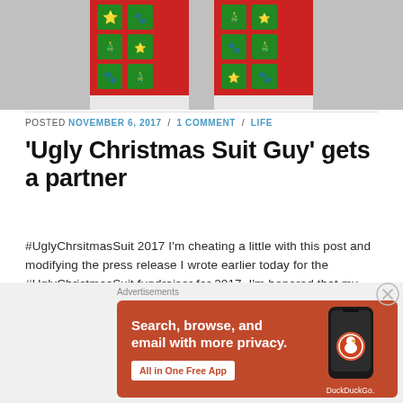[Figure (photo): Christmas/holiday patterned pajama pants legs visible from knees down, red and green pattern with holiday motifs, two people standing side by side on grey background]
POSTED NOVEMBER 6, 2017 / 1 COMMENT / LIFE
'Ugly Christmas Suit Guy' gets a partner
#UglyChrsitmasSuit 2017 I'm cheating a little with this post and modifying the press release I wrote earlier today for the #UglyChristmasSuit fundraiser for 2017. I'm honored that my buddy Tom …
Continue Reading
Advertisements
[Figure (illustration): DuckDuckGo advertisement banner on orange-red background. Text: Search, browse, and email with more privacy. All in One Free App. Shows a phone with DuckDuckGo logo.]